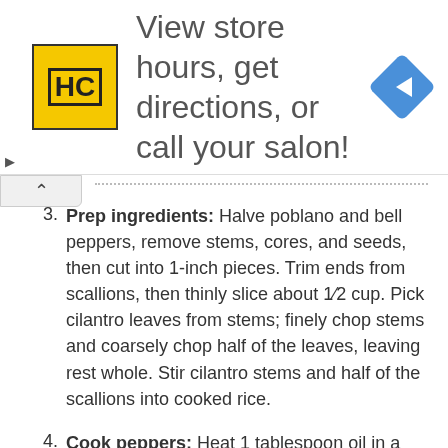[Figure (infographic): Advertisement banner with HC logo (yellow square with HC letters), text 'View store hours, get directions, or call your salon!', and a blue navigation diamond icon on the right.]
3. Prep ingredients: Halve poblano and bell peppers, remove stems, cores, and seeds, then cut into 1-inch pieces. Trim ends from scallions, then thinly slice about 1⁄2 cup. Pick cilantro leaves from stems; finely chop stems and coarsely chop half of the leaves, leaving rest whole. Stir cilantro stems and half of the scallions into cooked rice.
4. Cook peppers: Heat 1 tablespoon oil in a medium skillet over medium-high. Add peppers, remaining garlic and scallions, and a pinch each salt and pepper. Cook, stirring occasionally, until peppers are softened and charred in spots, about 8 minutes (reduce heat if browning too